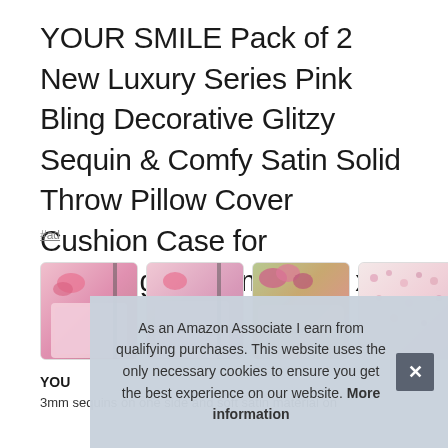YOUR SMILE Pack of 2 New Luxury Series Pink Bling Decorative Glitzy Sequin & Comfy Satin Solid Throw Pillow Cover Cushion Case for Wedding/Christmas,18" x 18"
#ad
[Figure (photo): Four thumbnail images of pink sequin and satin throw pillow covers, showing pillows in various settings]
As an Amazon Associate I earn from qualifying purchases. This website uses the only necessary cookies to ensure you get the best experience on our website. More information
YOU
3mm sequins on one side and soft satin material on the other,